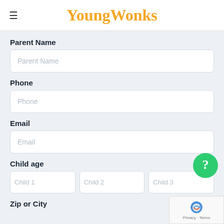YoungWonks
Parent Name
Parent Name
Phone
Phone
Email
Email
Child age
Child 1 | Child 2 | Child 3
Zip or City